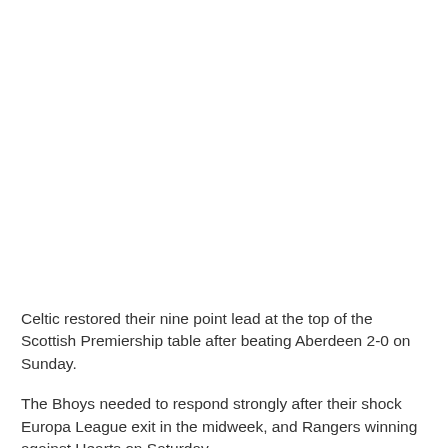Celtic restored their nine point lead at the top of the Scottish Premiership table after beating Aberdeen 2-0 on Sunday.
The Bhoys needed to respond strongly after their shock Europa League exit in the midweek, and Rangers winning against Hearts on Saturday.